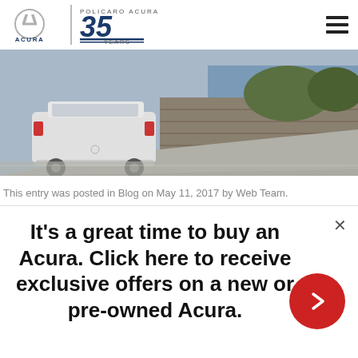[Figure (logo): Acura logo with circular A emblem and ACURA text, vertical divider, Policaro Acura 35 Years logo in blue]
[Figure (photo): Silver Acura SUV driving on a coastal road with stone wall and trees, shot from rear angle]
This entry was posted in Blog on May 11, 2017 by Web Team.
It's a great time to buy an Acura. Click here to receive exclusive offers on a new or pre-owned Acura.